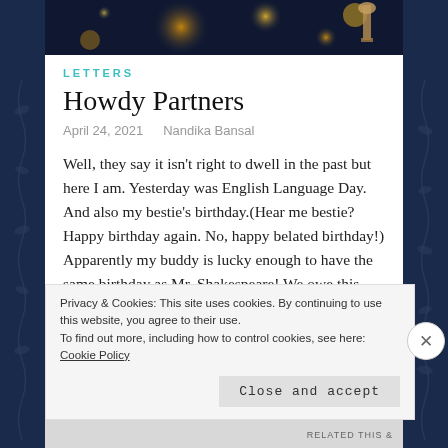[Figure (photo): Blurred bokeh background photo with warm golden/orange light orbs and a dark background, partial view of a trophy or figurine on the right side]
LETTERS
Howdy Partners
April 24, 2021    Nandika Bansal
Well, they say it isn't right to dwell in the past but here I am. Yesterday was English Language Day. And also my bestie's birthday.(Hear me bestie? Happy birthday again. No, happy belated birthday!) Apparently my buddy is lucky enough to have the same birthday as Mr. Shakespeare! We owe this guy for quite a… Continue reading
Privacy & Cookies: This site uses cookies. By continuing to use this website, you agree to their use.
To find out more, including how to control cookies, see here: Cookie Policy
Close and accept